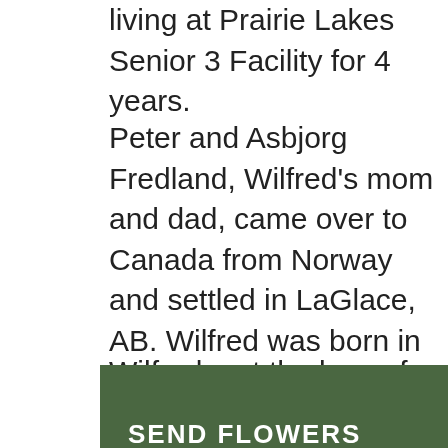living at Prairie Lakes Senior 3 Facility for 4 years.
Peter and Asbjorg Fredland, Wilfred's mom and dad, came over to Canada from Norway and settled in LaGlace, AB. Wilfred was born in Sexsmith, AB on February 17, 1939, their third child, and raised on the farm in LaGlace. Wilfred attended school in Northfield and LaGlace, AB. His family took homesteads in Fourth Creek, AB in 1955.
Wilfred met the love of his life, Serene they were married in uple purchased farmland in Fourth Creek, AB in the late 1960's. Darrell was born in 1961 and Travis
[Figure (other): A dark olive/green button overlay reading 'SEND FLOWERS' in white uppercase letters]